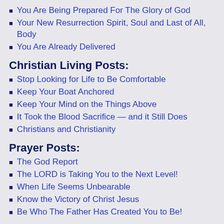You Are Being Prepared For The Glory of God
Your New Resurrection Spirit, Soul and Last of All, Body
You Are Already Delivered
Christian Living Posts:
Stop Looking for Life to Be Comfortable
Keep Your Boat Anchored
Keep Your Mind on the Things Above
It Took the Blood Sacrifice — and it Still Does
Christians and Christianity
Prayer Posts:
The God Report
The LORD is Taking You to the Next Level!
When Life Seems Unbearable
Know the Victory of Christ Jesus
Be Who The Father Has Created You to Be!
Bible Sharing Posts:
Love is the Fulfilling of The Old Law
You Are Already Delivered